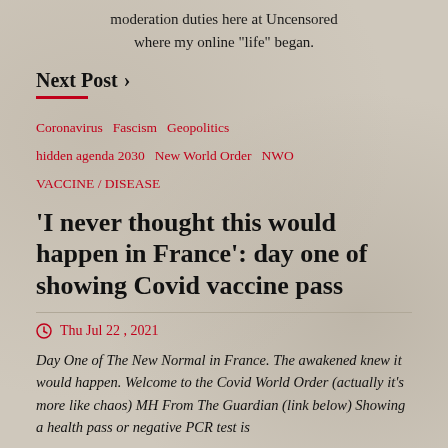moderation duties here at Uncensored where my online "life" began.
Next Post ›
Coronavirus  Fascism  Geopolitics  hidden agenda 2030  New World Order  NWO  VACCINE / DISEASE
'I never thought this would happen in France': day one of showing Covid vaccine pass
Thu Jul 22 , 2021
Day One of The New Normal in France. The awakened knew it would happen. Welcome to the Covid World Order (actually it's more like chaos) MH From The Guardian (link below) Showing a health pass or negative PCR test is